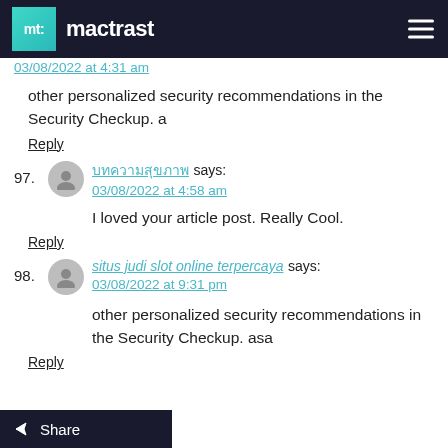mactrast
03/08/2022 at 4:31 am
other personalized security recommendations in the Security Checkup. a
Reply
97. บทความสุขภาพ says: 03/08/2022 at 4:58 am
I loved your article post. Really Cool.
Reply
98. situs judi slot online terpercaya says: 03/08/2022 at 9:31 pm
other personalized security recommendations in the Security Checkup. asa
Reply